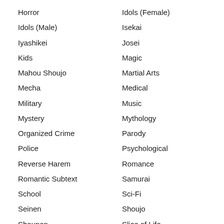Horror
Idols (Female)
Idols (Male)
Isekai
Iyashikei
Josei
Kids
Magic
Mahou Shoujo
Martial Arts
Mecha
Medical
Military
Music
Mystery
Mythology
Organized Crime
Parody
Police
Psychological
Reverse Harem
Romance
Romantic Subtext
Samurai
School
Sci-Fi
Seinen
Shoujo
Shounen
Slice of Life
Space
Sports
Strategy Game
Super Power